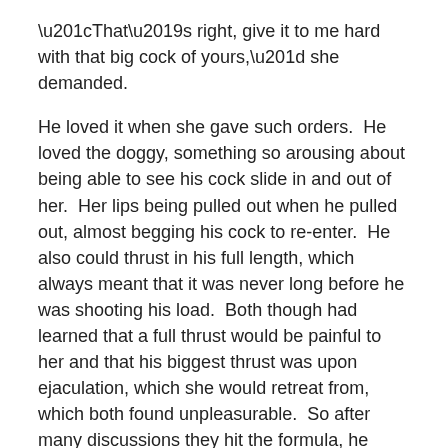“That’s right, give it to me hard with that big cock of yours,” she demanded.
He loved it when she gave such orders.  He loved the doggy, something so arousing about being able to see his cock slide in and out of her.  Her lips being pulled out when he pulled out, almost begging his cock to re-enter.  He also could thrust in his full length, which always meant that it was never long before he was shooting his load.  Both though had learned that a full thrust would be painful to her and that his biggest thrust was upon ejaculation, which she would retreat from, which both found unpleasurable.  So after many discussions they hit the formula, he wouldn’t thrust so deeply, even when he came and she wouldn’t retreat, it worked well, especially now she was masturbating herself to orgasm, something she wouldn’t normally achieve in this position by penis alone.